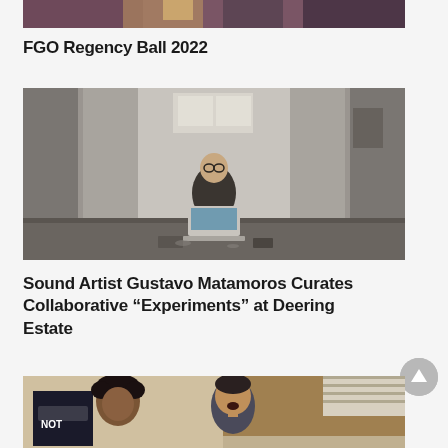[Figure (photo): Partial photo at top showing people at FGO Regency Ball 2022, cropped to show bottom portion]
FGO Regency Ball 2022
[Figure (photo): Person (sound artist) sitting in a concrete room/corridor working on a laptop computer, with equipment around them at Deering Estate]
Sound Artist Gustavo Matamoros Curates Collaborative “Experiments” at Deering Estate
[Figure (photo): Two people appearing to perform or speak, bottom portion of image, one with curly hair and one with open mouth, with a sign visible in background reading NOT]